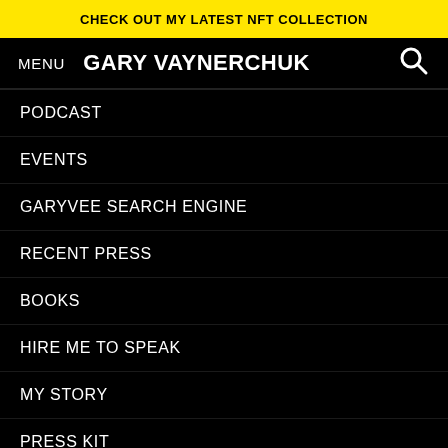CHECK OUT MY LATEST NFT COLLECTION
MENU  GARY VAYNERCHUK
PODCAST
EVENTS
GARYVEE SEARCH ENGINE
RECENT PRESS
BOOKS
HIRE ME TO SPEAK
MY STORY
PRESS KIT
FIRST TIME HERE
WALLPAPERS